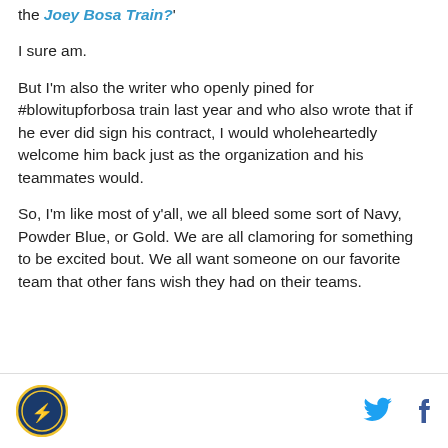the Joey Bosa Train?'
I sure am.
But I'm also the writer who openly pined for #blowitupforbosa train last year and who also wrote that if he ever did sign his contract, I would wholeheartedly welcome him back just as the organization and his teammates would.
So, I'm like most of y'all, we all bleed some sort of Navy, Powder Blue, or Gold. We are all clamoring for something to be excited bout. We all want someone on our favorite team that other fans wish they had on their teams.
[logo] [twitter icon] [facebook icon]